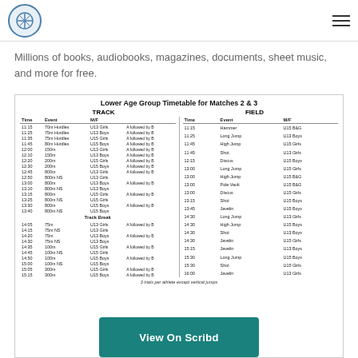Scribd navigation bar with logo and hamburger menu
Millions of books, audiobooks, magazines, documents, sheet music, and more for free.
Lower Age Group Timetable for Matches 2 & 3
| Time | Event | M/F |  | Time | Event | M/F |
| --- | --- | --- | --- | --- | --- | --- |
| 11:15 | 70m Hurdles | U13 Girls | A followed by B | 11:15 | Hammer | U15 B & G |
| 11:25 | 75m Hurdles | U13 Boys | A followed by B | 11:25 | Long Jump | U13 Boys |
| 11:35 | 75m Hurdles | U15 Girls | A followed by B | 11:45 | High Jump | U15 Girls |
| 11:45 | 80m Hurdles | U15 Boys | A followed by B | 11:45 | Shot | U13 Girls |
| 12:00 | 150m | U13 Girls | A followed by B | 12:15 | Discus | U15 Boys |
| 12:10 | 150m | U13 Boys | A followed by B | 13:00 | Long Jump | U15 Girls |
| 12:20 | 200m | U15 Girls | A followed by B | 13:00 | High Jump | U15 B & G |
| 12:30 | 200m | U15 Boys | A followed by B | 13:00 | Pole Vault | U15 B & G |
| 12:45 | 800m | U13 Girls | A followed by B | 13:00 | Discus | U15 Girls |
| 12:50 | 800m NS | U13 Girls |  | 13:15 | Shot | U15 Boys |
| 13:00 | 800m | U13 Boys | A followed by B | 13:45 | Javelin | U15 Boys |
| 13:10 | 800m NS | U13 Boys |  | 14:30 | Long Jump | U13 Girls |
| 13:15 | 800m | U15 Girls | A followed by B | 14:30 | High Jump | U15 Boys |
| 13:25 | 800m NS | U15 Girls |  | 14:30 | Shot | U13 Boys |
| 13:30 | 800m | U15 Boys | A followed by B | 14:30 | Javelin | U15 Girls |
| 13:40 | 800m NS | U15 Boys |  | 15:15 | Javelin | U13 Boys |
| Track Break |  |  |  | 15:30 | Long Jump | U15 Boys |
| 14:05 | 75m | U13 Girls | A followed by B | 15:30 | Shot | U15 Girls |
| 14:15 | 75m NS | U13 Girls |  | 16:00 | Javelin | U13 Girls |
| 14:20 | 75m | U13 Boys | A followed by B |  |  |  |
| 14:30 | 75m NS | U13 Boys |  |  |  |  |
| 14:35 | 100m | U15 Girls | A followed by B |  |  |  |
| 14:45 | 100m NS | U15 Girls |  |  |  |  |
| 14:50 | 100m | U15 Boys | A followed by B |  |  |  |
| 15:00 | 100m NS | U15 Boys |  |  |  |  |
| 15:05 | 300m | U15 Girls | A followed by B |  |  |  |
| 15:15 | 300m | U15 Boys | A followed by B |  |  |  |
3 trials per athlete except vertical jumps
[Figure (screenshot): View On Scribd teal button overlay at bottom]